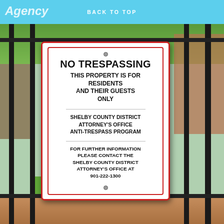Agency  BACK TO TOP
[Figure (photo): Photo of a No Trespassing sign mounted on a black iron fence in front of an apartment complex. The white rectangular sign with red border reads: NO TRESPASSING / THIS PROPERTY IS FOR RESIDENTS AND THEIR GUESTS ONLY / SHELBY COUNTY DISTRICT ATTORNEY'S OFFICE ANTI-TRESPASS PROGRAM / FOR FURTHER INFORMATION PLEASE CONTACT THE SHELBY COUNTY DISTRICT ATTORNEY'S OFFICE AT 901-222-1300]